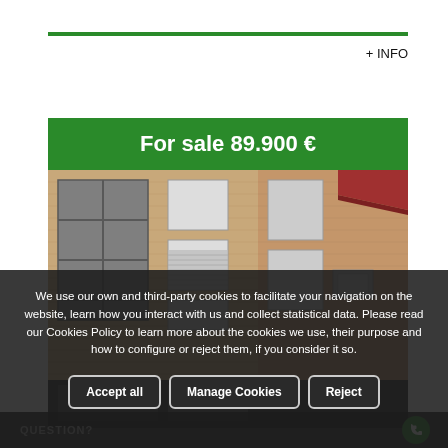+ INFO
For sale 89.900 €
[Figure (photo): Exterior photograph of a brick apartment building with multiple floors, roller shutters on windows, and an air conditioning unit visible. A red awning is partially visible on the right side.]
We use our own and third-party cookies to facilitate your navigation on the website, learn how you interact with us and collect statistical data. Please read our Cookies Policy to learn more about the cookies we use, their purpose and how to configure or reject them, if you consider it so.
Accept all
Manage Cookies
Reject
QUESTION?